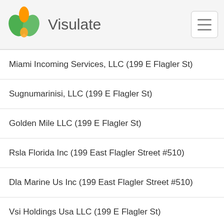Visulate
Miami Incoming Services, LLC (199 E Flagler St)
Sugnumarinisi, LLC (199 E Flagler St)
Golden Mile LLC (199 E Flagler St)
Rsla Florida Inc (199 East Flagler Street #510)
Dla Marine Us Inc (199 East Flagler Street #510)
Vsi Holdings Usa LLC (199 E Flagler St)
Garcia One, Inc. (199 E Flagler St #332)
Miami Real Estate Investment Properties, Inc (199 E Flagler St)
Miami Tours And Attractions, LLC (199 E Flagler St)
Glenda Puente Architect Inc (168 Se 1st St)